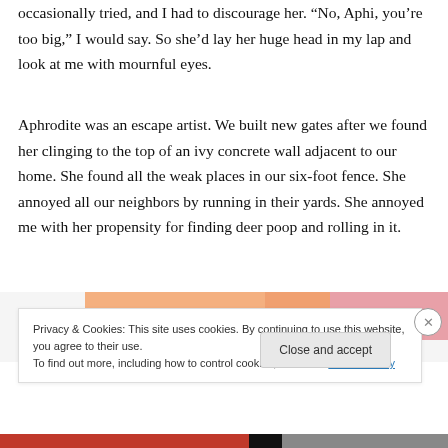occasionally tried, and I had to discourage her. “No, Aphi, you’re too big,” I would say. So she’d lay her huge head in my lap and look at me with mournful eyes.
Aphrodite was an escape artist. We built new gates after we found her clinging to the top of an ivy concrete wall adjacent to our home. She found all the weak places in our six-foot fence. She annoyed all our neighbors by running in their yards. She annoyed me with her propensity for finding deer poop and rolling in it.
[Figure (photo): Partial view of a photo strip with orange/pink tones, partially obscured by cookie consent banner]
Privacy & Cookies: This site uses cookies. By continuing to use this website, you agree to their use.
To find out more, including how to control cookies, see here: Cookie Policy
Close and accept